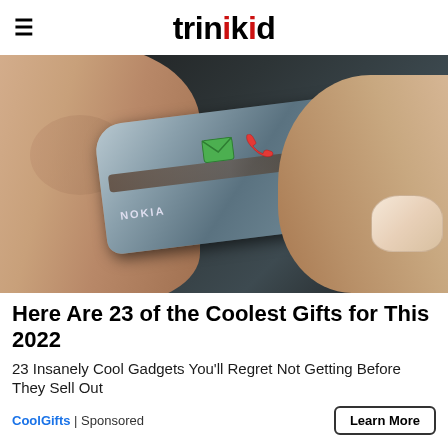trinikid
[Figure (photo): A Nokia FIT wearable device worn on a finger, showing a green email icon and red phone icon on the device face, with the Nokia branding visible.]
Here Are 23 of the Coolest Gifts for This 2022
23 Insanely Cool Gadgets You'll Regret Not Getting Before They Sell Out
CoolGifts | Sponsored   Learn More